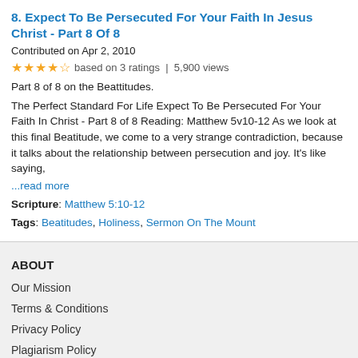8. Expect To Be Persecuted For Your Faith In Jesus Christ - Part 8 Of 8
Contributed on Apr 2, 2010
★★★★½ based on 3 ratings | 5,900 views
Part 8 of 8 on the Beattitudes.
The Perfect Standard For Life Expect To Be Persecuted For Your Faith In Christ - Part 8 of 8 Reading: Matthew 5v10-12 As we look at this final Beatitude, we come to a very strange contradiction, because it talks about the relationship between persecution and joy. It's like saying,
...read more
Scripture: Matthew 5:10-12
Tags: Beatitudes, Holiness, Sermon On The Mount
ABOUT
Our Mission
Terms & Conditions
Privacy Policy
Plagiarism Policy
FAQS